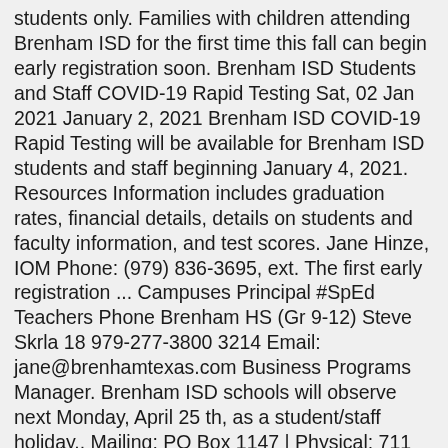students only. Families with children attending Brenham ISD for the first time this fall can begin early registration soon. Brenham ISD Students and Staff COVID-19 Rapid Testing Sat, 02 Jan 2021 January 2, 2021 Brenham ISD COVID-19 Rapid Testing will be available for Brenham ISD students and staff beginning January 4, 2021. Resources Information includes graduation rates, financial details, details on students and faculty information, and test scores. Jane Hinze, IOM Phone: (979) 836-3695, ext. The first early registration ... Campuses Principal #SpEd Teachers Phone Brenham HS (Gr 9-12) Steve Skrla 18 979-277-3800 3214 Email: jane@brenhamtexas.com Business Programs Manager. Brenham ISD schools will observe next Monday, April 25 th, as a student/staff holiday.. Mailing: PO Box 1147 | Physical: 711 E. Mansfield | Brenham, TX 77834-1147 | Phone: 979-277-3700 | Fax: 979-277-3701 What's New. My current job with the Special Education Department...